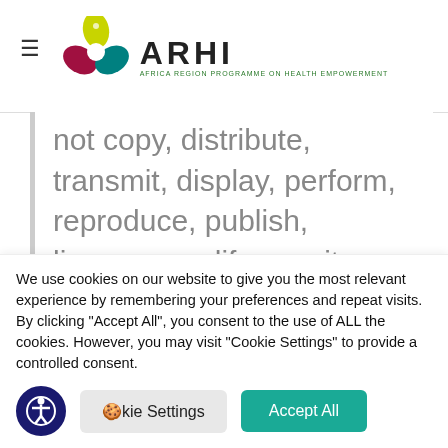ARHI
not copy, distribute, transmit, display, perform, reproduce, publish, license, modify, rewrite, create derivative works from, transfer, or sell any material contained on the Website without the prior consent of the copyright owner.
We use cookies on our website to give you the most relevant experience by remembering your preferences and repeat visits. By clicking "Accept All", you consent to the use of ALL the cookies. However, you may visit "Cookie Settings" to provide a controlled consent.